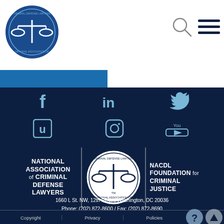[Figure (logo): NACDL circular logo with scales of justice on blue background, top left header]
[Figure (illustration): Search (magnifying glass) icon, top right header]
[Figure (illustration): Hamburger menu icon, top right header]
[Figure (illustration): Social media icons: Facebook, LinkedIn, Twitter, Unigo, Instagram, YouTube on dark navy background]
[Figure (logo): NACDL circular logo (white on dark) in center of footer]
NATIONAL ASSOCIATION of CRIMINAL DEFENSE LAWYERS
NACDL FOUNDATION for CRIMINAL JUSTICE
1660 L St. NW, 12th Floor , Washington, DC 20036
Phone: (202) 872-8600 / Fax: (202) 872-8690
Copyright | Privacy | Policies